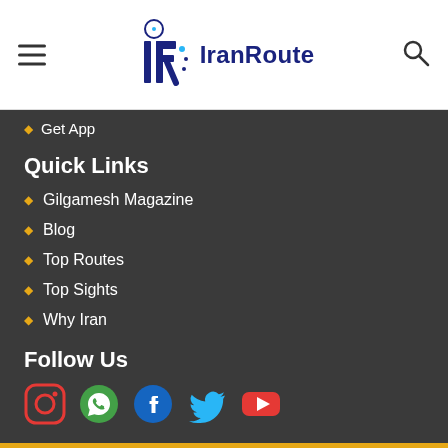[Figure (logo): IranRoute logo with stylized IR letters and text IranRoute in navy blue]
Get App
Quick Links
Gilgamesh Magazine
Blog
Top Routes
Top Sights
Why Iran
Follow Us
[Figure (infographic): Social media icons: Instagram (red outline circle), WhatsApp (green), Facebook (blue f), Twitter (blue bird), YouTube (red play button)]